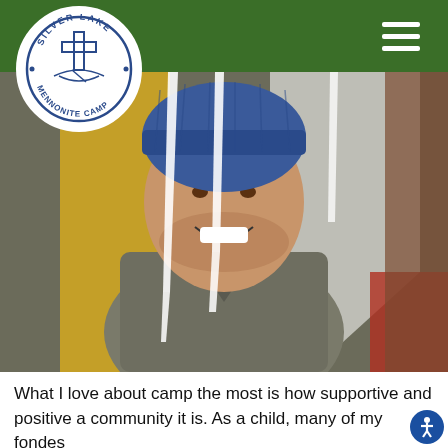Silver Lake Mennonite Camp
[Figure (photo): A smiling man wearing a blue knit beanie and olive/grey v-neck sweater, with icicles hanging in the foreground. Colorful background (yellow, white, red panels). Silver Lake Mennonite Camp website screenshot with green header bar, circular logo top-left, and hamburger menu top-right.]
What I love about camp the most is how supportive and positive a community it is. As a child, many of my fondes